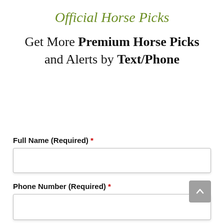Official Horse Picks
Get More Premium Horse Picks and Alerts by Text/Phone
Full Name (Required) *
Phone Number (Required) *